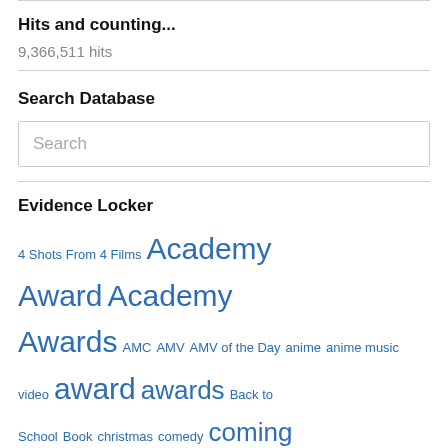Hits and counting...
9,366,511 hits
Search Database
Search
Evidence Locker
4 Shots From 4 Films  Academy Award  Academy Awards  AMC  AMV  AMV of the Day  anime  anime music video  award  awards  Back to School  Book  christmas  comedy  coming attraction  coming attractions  Cracked Rear Viewer  Daily